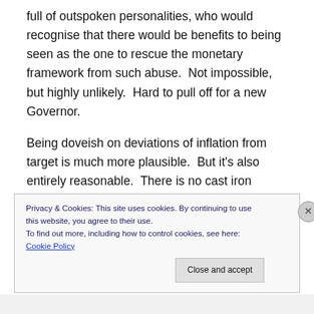full of outspoken personalities, who would recognise that there would be benefits to being seen as the one to rescue the monetary framework from such abuse.  Not impossible, but highly unlikely.  Hard to pull off for a new Governor.
Being doveish on deviations of inflation from target is much more plausible.  But it's also entirely reasonable.  There is no cast iron message from experience or from the academic literature to draw on regarding how such deviations should be weighed relative to fluctuations in
Privacy & Cookies: This site uses cookies. By continuing to use this website, you agree to their use.
To find out more, including how to control cookies, see here: Cookie Policy
Close and accept